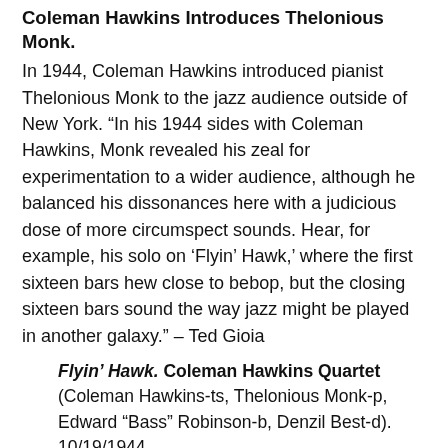Coleman Hawkins Introduces Thelonious Monk.
In 1944, Coleman Hawkins introduced pianist Thelonious Monk to the jazz audience outside of New York. “In his 1944 sides with Coleman Hawkins, Monk revealed his zeal for experimentation to a wider audience, although he balanced his dissonances here with a judicious dose of more circumspect sounds. Hear, for example, his solo on ‘Flyin’ Hawk,’ where the first sixteen bars hew close to bebop, but the closing sixteen bars sound the way jazz might be played in another galaxy.” – Ted Gioia
Flyin’ Hawk. Coleman Hawkins Quartet (Coleman Hawkins-ts, Thelonious Monk-p, Edward “Bass” Robinson-b, Denzil Best-d). 10/19/1944.
Drifting On A Reed. Coleman Hawkins Quartet (Coleman Hawkins-ts, Thelonious Monk-p, Edward “Bass” Robinson-b, Denzil Best-d). 10/19/1944. Scott DeVeaux describes Hawkins’s choice of Monk